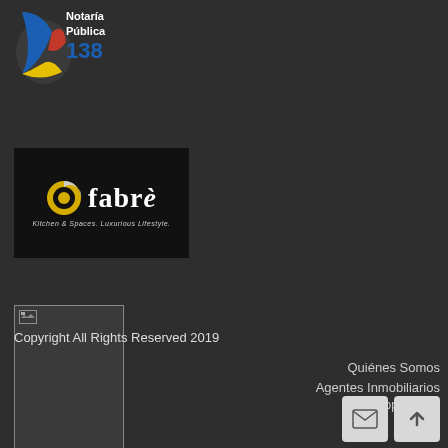[Figure (logo): Notaría Pública 138 logo with colored swoosh graphic and text]
[Figure (logo): Fabrè Kitchen & Spaces Luxurious Lifestyle logo on black background with yellow/white circular icon]
[Figure (photo): Broken image placeholder with small icon in top-left, gray background with border]
Copyright All Rights Reserved 2019
Quiénes Somos
Agentes Inmobiliarios
Propiedades
Casas en Venta
Casas en Renta
Departamentos en Venta
Departamentos en Renta
Locales Comercial y Oficinas en